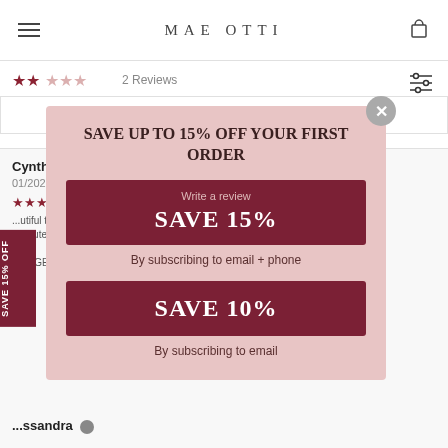MAE OTTI
2 Reviews
[Figure (screenshot): Background review page with star ratings, Cynthia review, and filter controls]
SAVE UP TO 15% OFF YOUR FIRST ORDER
Write a review
SAVE 15%
By subscribing to email + phone
SAVE 10%
By subscribing to email
SAVE 15% OFF